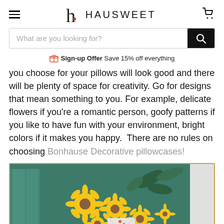HAUSWEET
What are you looking for?
Sign-up Offer  Save 15% off everything
you choose for your pillows will look good and there will be plenty of space for creativity. Go for designs that mean something to you. For example, delicate flowers if you’re a romantic person, goofy patterns if you like to have fun with your environment, bright colors if it makes you happy.  There are no rules on choosing Bonhause Decorative pillowcases!
[Figure (photo): A framed painting of yellow sunflowers/daisies with green foliage on a teal background, partially visible, placed against a light grey wall.]